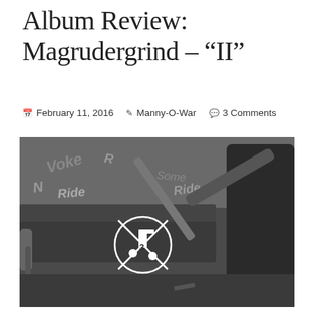Album Review: Magrudergrind – "II"
February 11, 2016  Manny-O-War  3 Comments
[Figure (photo): Black and white photograph used as album cover for Magrudergrind 'II'. Shows a person in a dark jacket holding a metal pole or bat over a subway/bus bench seat. Graffiti covers the wall in the background. A circular logo with a crossed-out music note symbol is visible on the seat.]